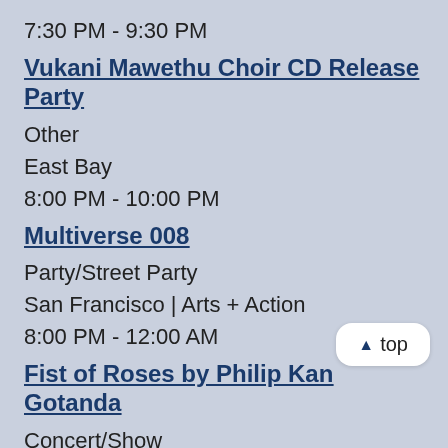7:30 PM - 9:30 PM
Vukani Mawethu Choir CD Release Party
Other
East Bay
8:00 PM - 10:00 PM
Multiverse 008
Party/Street Party
San Francisco | Arts + Action
8:00 PM - 12:00 AM
Fist of Roses by Philip Kan Gotanda
Concert/Show